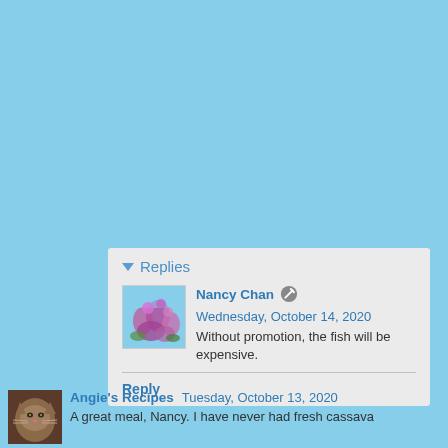[Figure (screenshot): Light blue background area (advertisement or empty space) taking up the top portion of the page]
▾ Replies
Nancy Chan ✎ Wednesday, October 14, 2020
Without promotion, the fish will be expensive.
Reply
Angie's Recipes  Tuesday, October 13, 2020
A great meal, Nancy. I have never had fresh cassava...